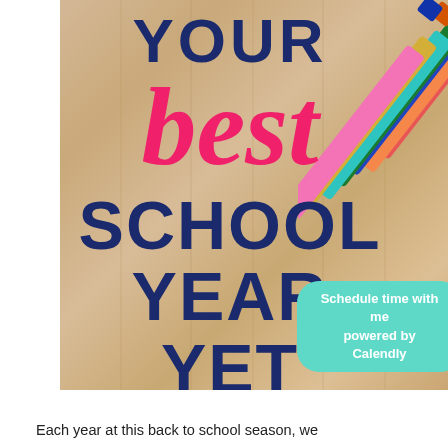[Figure (photo): Back-to-school promotional image with wood plank background, colorful markers/pens in top-right corner, bold text reading 'YOUR best SCHOOL YEAR YET', a script watermark 'A Teacher's', and a teal Calendly scheduling button.]
Each year at this back to school season, we